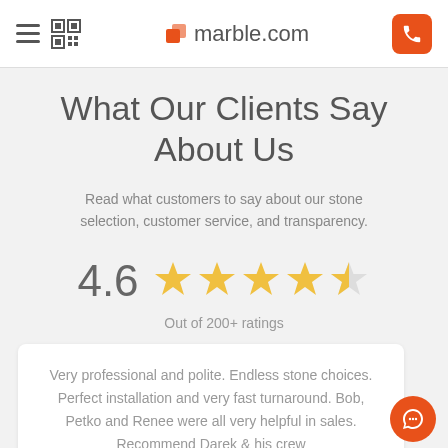marble.com
What Our Clients Say About Us
Read what customers to say about our stone selection, customer service, and transparency.
[Figure (infographic): Star rating display showing 4.6 out of 5 stars (4 full stars and 1 half star) in gold/yellow color]
Out of 200+ ratings
Very professional and polite. Endless stone choices. Perfect installation and very fast turnaround. Bob, Petko and Renee were all very helpful in sales. Recommend Darek & his crew